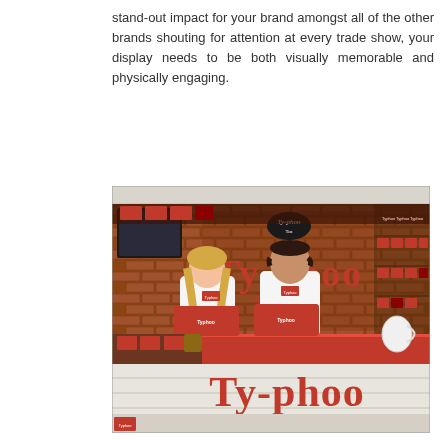stand-out impact for your brand amongst all of the other brands shouting for attention at every trade show, your display needs to be both visually memorable and physically engaging.
[Figure (photo): Photo of a Typhoo Tea trade show booth/display. Two staff members (a woman and a man) stand behind a counter holding Typhoo tea boxes. The backdrop features a brick wall with large 'Ty-phoo' lettering, wooden shelving units stocked with various Typhoo tea products. The front counter/fascia is white wood panelling with a large red 'Ty-phoo - Great British Tea since 1903' logo.]